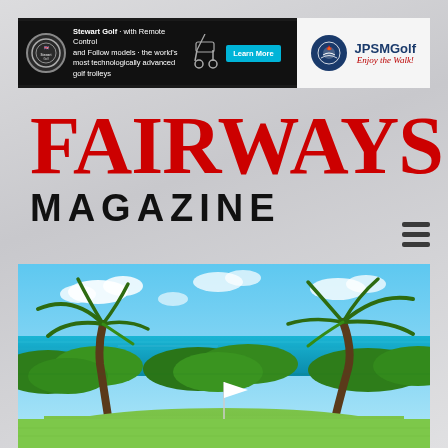[Figure (infographic): Stewart Golf advertisement banner: left side dark background with Stewart Golf circular logo, text 'Stewart Golf - with Remote Control and Follow models - the world's most technologically advanced golf trolleys', golf cart image, 'Learn More' button; right side white background with JPSMGolf circular logo and 'JPSMGolf Enjoy the Walk!' branding]
FAIRWAYS MAGAZINE
[Figure (photo): Tropical golf course hole with green putting surface, white flag pin, lush green shrubbery, palm trees on left and right, turquoise ocean and blue sky with white clouds in background]